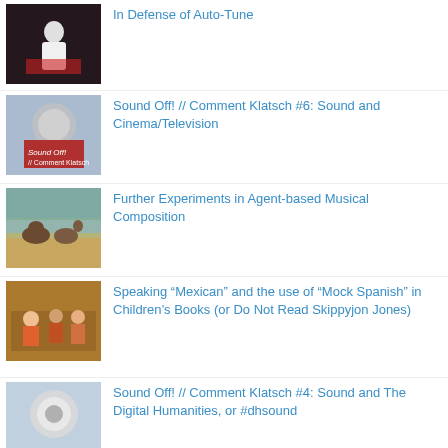In Defense of Auto-Tune
Sound Off! // Comment Klatsch #6: Sound and Cinema/Television
Further Experiments in Agent-based Musical Composition
Speaking “Mexican” and the use of “Mock Spanish” in Children’s Books (or Do Not Read Skippyjon Jones)
Sound Off! // Comment Klatsch #4: Sound and The Digital Humanities, or #dhsound